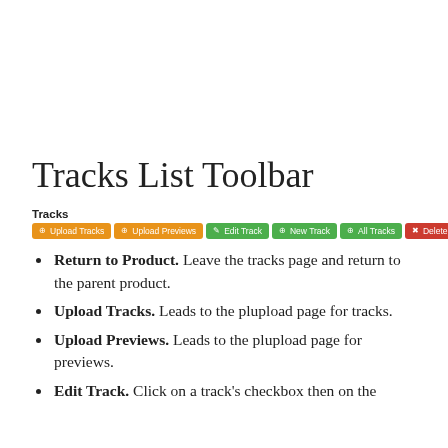Tracks List Toolbar
[Figure (screenshot): Toolbar with colored buttons: Upload Tracks (orange), Upload Previews (orange), Edit Track (green), New Track (green), All Tracks (green), Delete Tracks (red)]
Return to Product. Leave the tracks page and return to the parent product.
Upload Tracks. Leads to the plupload page for tracks.
Upload Previews. Leads to the plupload page for previews.
Edit Track. Click on a track's checkbox then on the